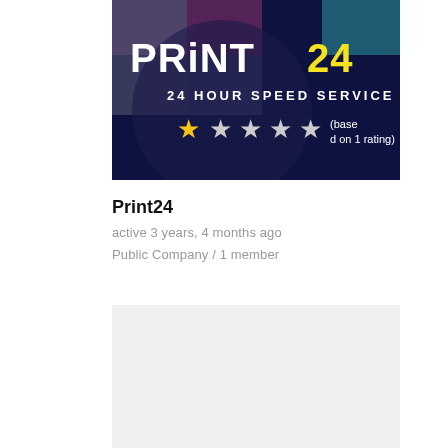[Figure (logo): Print24 logo on dark navy background with text 'PRiNT 24' in white and yellow letters, tagline '24 HOUR SPEED SERVICE' in white, with a star rating overlay showing 1 out of 5 stars with text '(based on 1 rating)']
Print24
active 3 years, 4 months ago
Public Company / 1 member
[Figure (other): Blank light gray placeholder image]